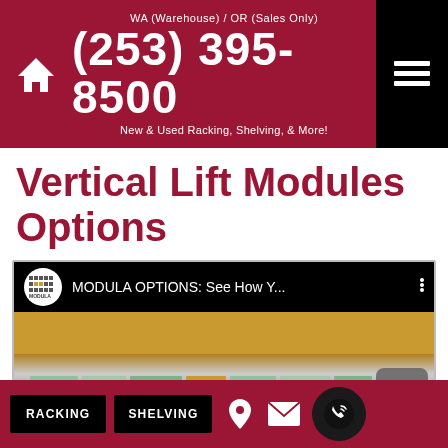WA (Warehouse) / OR (Sales Only)
(253) 395-8500
New & Used Racking, Shelving, & More!
Vertical Lift Modules Options
[Figure (screenshot): YouTube video thumbnail for MODULA OPTIONS: See How Y... showing a Modula vertical lift module with colorful trays/drawers being accessed. The video player shows the Modula logo, video title, and a partial red play button at the bottom.]